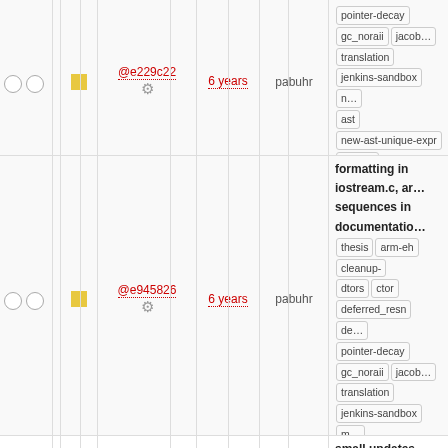|  |  | hash | age | author | tags/message |
| --- | --- | --- | --- | --- | --- |
| ○○ | □ | @e229c22 ⚙ | 6 years | pabuhr | pointer-decay gc_noraii jacob... translation jenkins-sandbox n... ast new-ast-unique-expr new-... env no_list persistent-indexer... emulation qualifiedEnum reso... |
| ○○ | □ | @0638c44 ⚙ | 6 years | pabuhr | more formatting changes to update I/O for examples
eh cleanup-dtors ctor deferred_resn de... pointer-decay gc_noraii jacob... translation jenkins-sandbox m... ast new-ast-unique-expr new-... env no_list persistent-indexer... emulation qualifiedEnum reso... |
| ○○ | □ | @e945826 ⚙ | 6 years | pabuhr | formatting in iostream.c, ar... sequences in documentatio...
thesis arm-eh cleanup-dtors ctor deferred_resn de... pointer-decay gc_noraii jacob... translation jenkins-sandbox m... ast new-ast-unique-expr new-... env no_list persistent-indexer... emulation qualifiedEnum reso... |
| ○○ | □ | @8bc4ef8 ⚙ | 6 years | pabuhr | small updates missing from...
aaron-thesis arm-eh cleanu... dtors ctor deferred_resn de... pointer-decay gc_noraii jacob... translation jenkins-sandbox m... ast new-ast-unique-expr new-... env no_list persistent-indexer... emulation qualifiedEnum reso... |
| ○○ | □ |  |  |  | add math library to user ma... sepDisable bug in iostream...
eh cleanup-dtors deferred... |